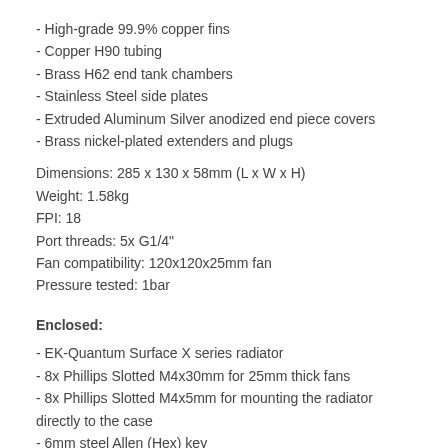- High-grade 99.9% copper fins
- Copper H90 tubing
- Brass H62 end tank chambers
- Stainless Steel side plates
- Extruded Aluminum Silver anodized end piece covers
- Brass nickel-plated extenders and plugs
Dimensions: 285 x 130 x 58mm (L x W x H)
Weight: 1.58kg
FPI: 18
Port threads: 5x G1/4"
Fan compatibility: 120x120x25mm fan
Pressure tested: 1bar
Enclosed:
- EK-Quantum Surface X series radiator
- 8x Phillips Slotted M4x30mm for 25mm thick fans
- 8x Phillips Slotted M4x5mm for mounting the radiator directly to the case
- 6mm steel Allen (Hex) key
- 9mm steel Allen (Hex) key
Designed and Engineered in Slovenia